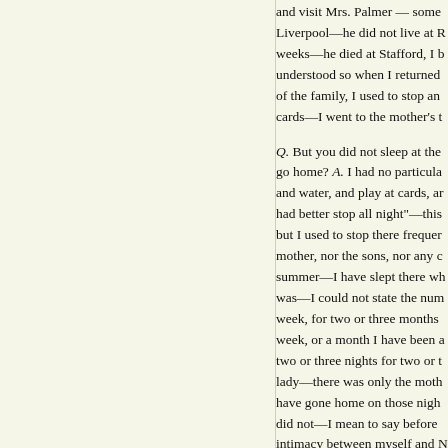and visit Mrs. Palmer — some Liverpool—he did not live at R weeks—he died at Stafford, I b understood so when I returned of the family, I used to stop an cards—I went to the mother's t Q. But you did not sleep at the go home? A. I had no particula and water, and play at cards, ar had better stop all night"—this but I used to stop there frequer mother, nor the sons, nor any c summer—I have slept there wh was—I could not state the num week, for two or three months week, or a month I have been a two or three nights for two or t lady—there was only the moth have gone home on those nigh did not—I mean to say before intimacy between myself and N Q. I have called your attention to attest another proposal in the Walter Palmer? A. I cannot sa